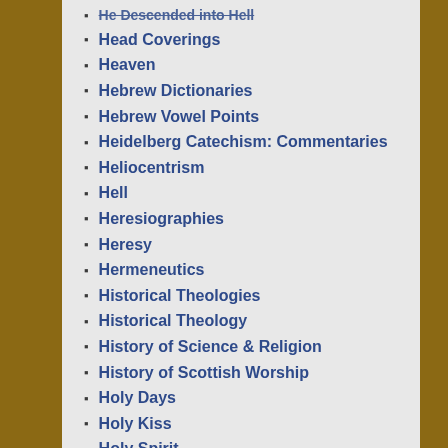He Descended into Hell
Head Coverings
Heaven
Hebrew Dictionaries
Hebrew Vowel Points
Heidelberg Catechism: Commentaries
Heliocentrism
Hell
Heresiographies
Heresy
Hermeneutics
Historical Theologies
Historical Theology
History of Science & Religion
History of Scottish Worship
Holy Days
Holy Kiss
Holy Spirit
Hour Christ was Crucified
How Far the Church may Speak to Civil Issues
Human Laws: How Far They Bind
Human Nature of Christ